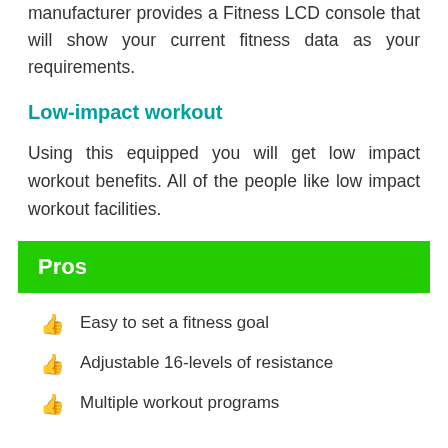manufacturer provides a Fitness LCD console that will show your current fitness data as your requirements.
Low-impact workout
Using this equipped you will get low impact workout benefits. All of the people like low impact workout facilities.
Pros
Easy to set a fitness goal
Adjustable 16-levels of resistance
Multiple workout programs